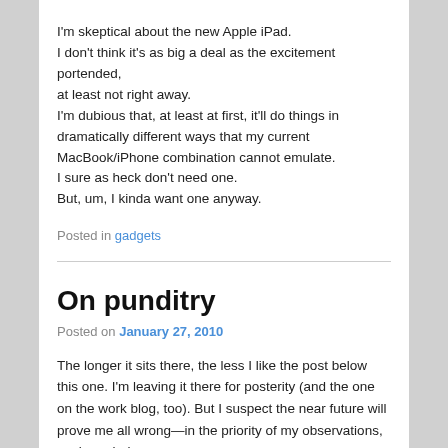I'm skeptical about the new Apple iPad. I don't think it's as big a deal as the excitement portended, at least not right away. I'm dubious that, at least at first, it'll do things in dramatically different ways that my current MacBook/iPhone combination cannot emulate. I sure as heck don't need one. But, um, I kinda want one anyway.
Posted in gadgets
On punditry
Posted on January 27, 2010
The longer it sits there, the less I like the post below this one. I'm leaving it there for posterity (and the one on the work blog, too). But I suspect the near future will prove me all wrong—in the priority of my observations, my knee-jerk